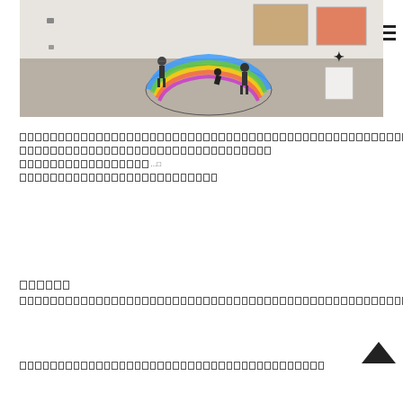[Figure (photo): Interior of an art gallery/museum with white walls. A large colorful curved rainbow-like sculpture on the floor with several people around it. Paintings on the walls in background. A white pedestal with a black cross/star shape on the right side.]
[redacted/unreadable text line 1]
[redacted/unreadable text line 2]
[redacted/unreadable text line 3]
[redacted/unreadable text line 4]
[redacted section header]
[redacted/unreadable text line 5]
[redacted/unreadable text line 6]